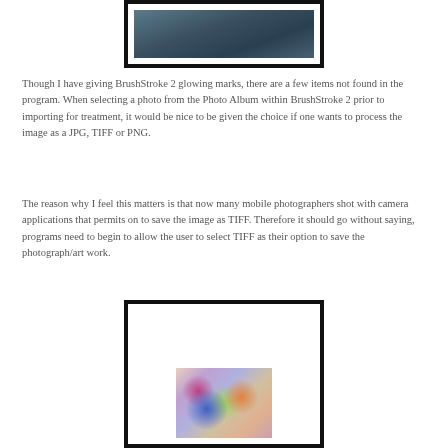[Figure (photo): Top portion of a framed photograph showing a dark blue/teal toned image, partially visible at top of page]
Though I have giving BrushStroke 2 glowing marks, there are a few items not found in the program. When selecting a photo from the Photo Album within BrushStroke 2 prior to importing for treatment, it would be nice to be given the choice if one wants to process the image as a JPG, TIFF or PNG.
The reason why I feel this matters is that now many mobile photographers shot with camera applications that permits on to save the image as TIFF. Therefore it should go without saying, programs need to begin to allow the user to select TIFF as their option to save the photograph/art work.
[Figure (photo): Framed artwork showing a colorful abstract or impressionistic image with blues, purples, oranges and greens]